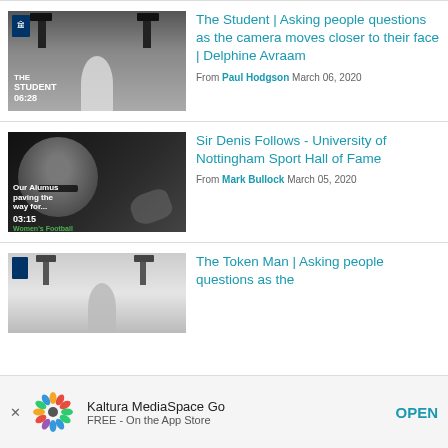[Figure (screenshot): Video thumbnail for 'The Student' video showing a person in a studio with lighting rigs, text 'THE STUDENT 06:28']
The Student | Asking people questions as the camera moves closer to their face | Delphine Avraam
From Paul Hodgson March 06, 2020
[Figure (screenshot): Video thumbnail in black and white showing a man with glasses, text 'Our Alumus paving the way for... Women's Football 03:15']
Sir Denis Follows - University of Nottingham Sport Hall of Fame
From Mark Bullock March 05, 2020
[Figure (screenshot): Video thumbnail showing a person in a studio with lighting rigs, partially visible]
The Token Man | Asking people questions as the
[Figure (screenshot): Kaltura MediaSpace Go app advertisement banner with colorful spinner logo, text 'Kaltura MediaSpace Go FREE - On the App Store' and OPEN button]